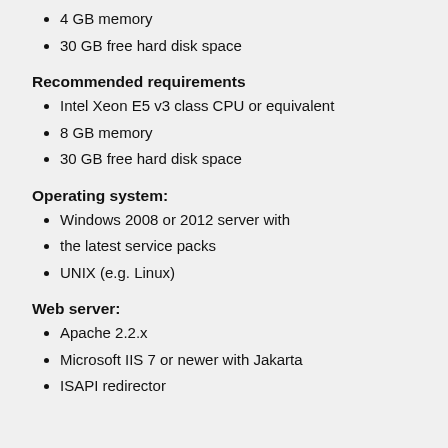4 GB memory
30 GB free hard disk space
Recommended requirements
Intel Xeon E5 v3 class CPU or equivalent
8 GB memory
30 GB free hard disk space
Operating system:
Windows 2008 or 2012 server with
the latest service packs
UNIX (e.g. Linux)
Web server:
Apache 2.2.x
Microsoft IIS 7 or newer with Jakarta
ISAPI redirector